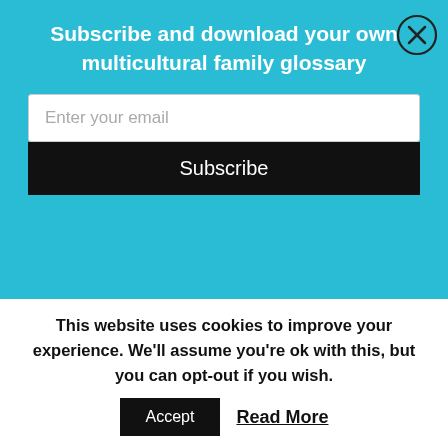Subscribe and download your own multicultural family glossary
Enter your email
Subscribe
Varya blogs at CreativeWorldOfVarya.Com . She is a mom to 3 children, an early development specialist, a baby massage and perinatal fitness instructor, aromatherapist and a breastfeeding counselor. Varya has been
This website uses cookies to improve your experience. We'll assume you're ok with this, but you can opt-out if you wish.
Accept
Read More